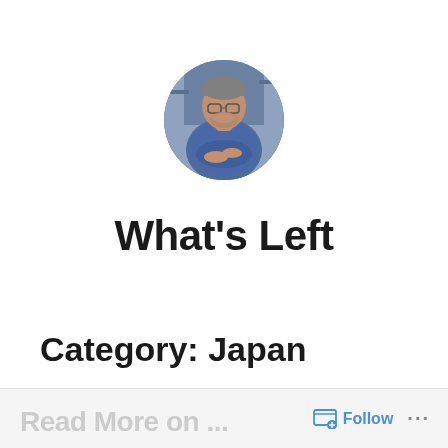[Figure (photo): Circular profile photo of a middle-aged man with glasses and gray hair, wearing a blue shirt with arms crossed, standing in what appears to be a room with shelves in the background.]
What's Left
Category: Japan
Follow ...